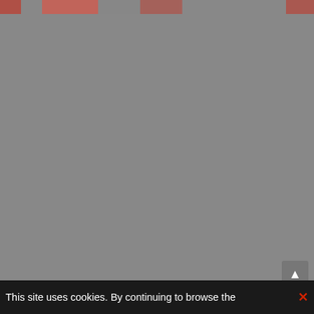[Figure (photo): Black and white photograph showing a person sitting on the floor wearing a patterned outfit, lacing up white boots. The image has a vintage film photography look with rounded corners and slight vignetting. Watermark reads © ROCKARCHIVE.COM at the bottom left.]
This site uses cookies. By continuing to browse the